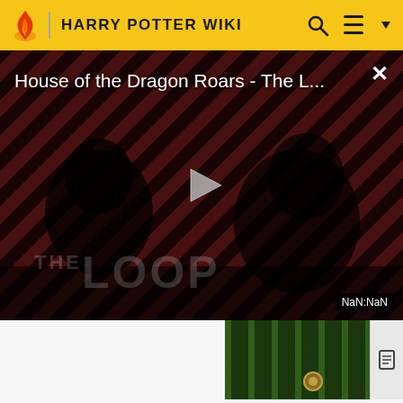HARRY POTTER WIKI
[Figure (screenshot): Video player showing 'House of the Dragon Roars - The L...' with a play button, THE LOOP branding, dark silhouette figures, striped red background, and NaN:NaN timestamp badge]
[Figure (photo): Thumbnail image of a figure in green striped robes, partially visible]
Alanza Alves (possibly graduated)[5]
William Weasley's Brazilian pen-friend (possibly ... )[2]